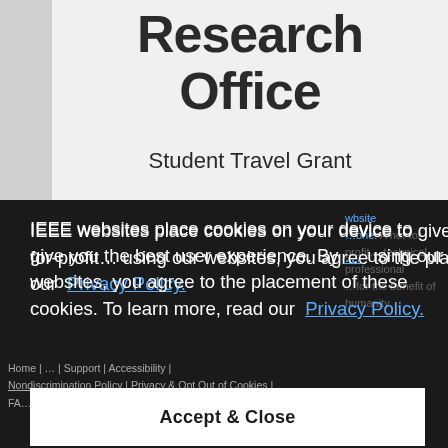Research Office
Student Travel Grant
IEEE websites place cookies on your device to give you the best user experience. By using our websites, you agree to the placement of these cookies. To learn more, read our Privacy Policy.
Accept & Close